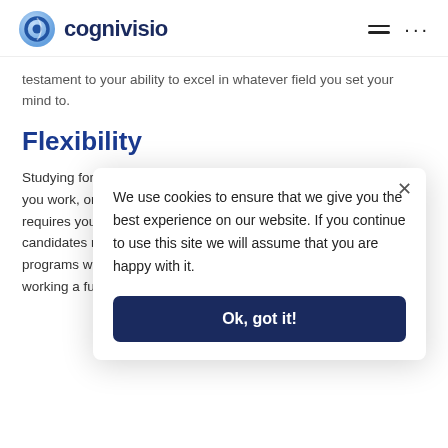cognivisio
testament to your ability to excel in whatever field you set your mind to.
Flexibility
Studying for th[e CFA® exam allows you to study at your own pac]e you work, or st[udy,] requires you to candidates rec programs whil working a full-t
We use cookies to ensure that we give you the best experience on our website. If you continue to use this site we will assume that you are happy with it.
Ok, got it!
While the CFA® dedicated study, and persistence, and becoming a certified CFA® Charterholders requires you to pass all three levels of